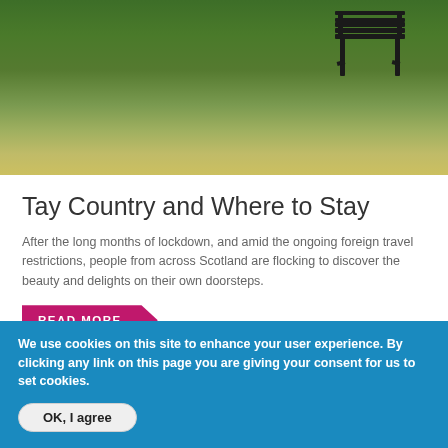[Figure (photo): A green grassy field/park area with a dark bench visible in the upper right corner. The grass has varying shades of green and brown.]
Tay Country and Where to Stay
After the long months of lockdown, and amid the ongoing foreign travel restrictions, people from across Scotland are flocking to discover the beauty and delights on their own doorsteps.
READ MORE
We use cookies on this site to enhance your user experience. By clicking any link on this page you are giving your consent for us to set cookies.
OK, I agree